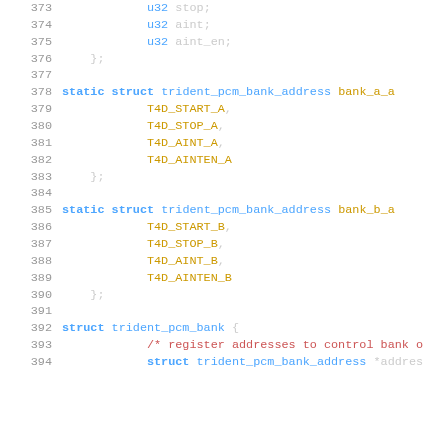Source code listing, lines 373-394, C struct definitions for trident PCM bank addresses